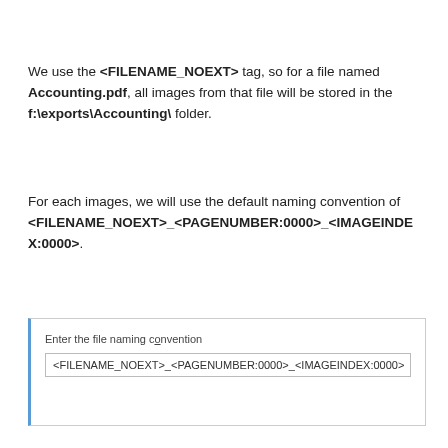We use the <FILENAME_NOEXT> tag, so for a file named Accounting.pdf, all images from that file will be stored in the f:\exports\Accounting\ folder.
For each images, we will use the default naming convention of <FILENAME_NOEXT>_<PAGENUMBER:0000>_<IMAGEINDEX:0000>.
[Figure (screenshot): A UI dialog box with label 'Enter the file naming convention' and an input field containing '<FILENAME_NOEXT>_<PAGENUMBER:0000>_<IMAGEINDEX:0000>']